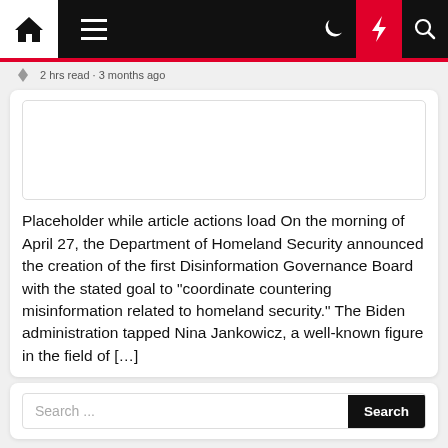Navigation bar with home, menu, moon, bolt, and search icons
2 hrs read · 3 months ago
[Figure (other): Empty white image placeholder box with border]
Placeholder while article actions load On the morning of April 27, the Department of Homeland Security announced the creation of the first Disinformation Governance Board with the stated goal to "coordinate countering misinformation related to homeland security." The Biden administration tapped Nina Jankowicz, a well-known figure in the field of […]
Search ...